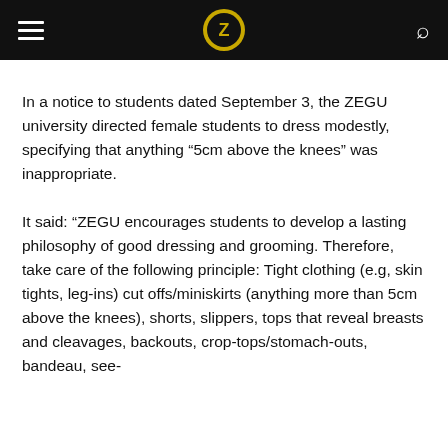ZEGU university news navigation bar
In a notice to students dated September 3, the ZEGU university directed female students to dress modestly, specifying that anything “5cm above the knees” was inappropriate.
It said: “ZEGU encourages students to develop a lasting philosophy of good dressing and grooming. Therefore, take care of the following principle: Tight clothing (e.g, skin tights, leg-ins) cut offs/miniskirts (anything more than 5cm above the knees), shorts, slippers, tops that reveal breasts and cleavages, backouts, crop-tops/stomach-outs, bandeau, see-